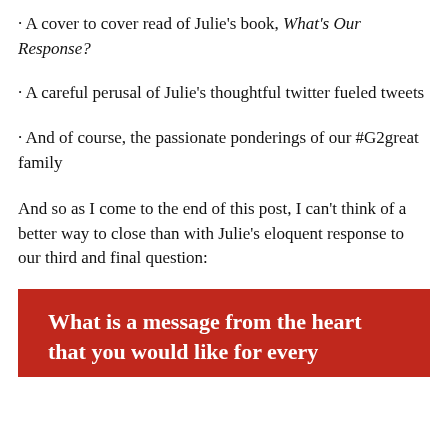· A cover to cover read of Julie’s book, What’s Our Response?
· A careful perusal of Julie’s thoughtful twitter fueled tweets
· And of course, the passionate ponderings of our #G2great family
And so as I come to the end of this post, I can’t think of a better way to close than with Julie’s eloquent response to our third and final question:
What is a message from the heart that you would like for every